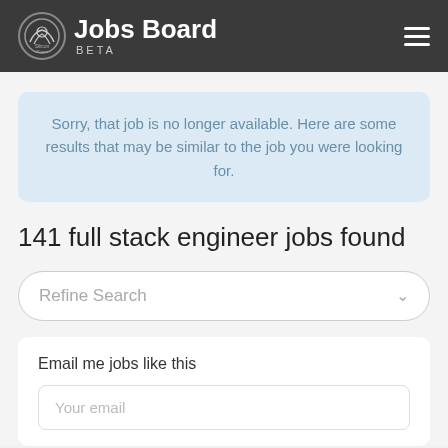Jobs Board BETA
Sorry, that job is no longer available. Here are some results that may be similar to the job you were looking for.
141 full stack engineer jobs found
Refine Search
Email me jobs like this
Your email